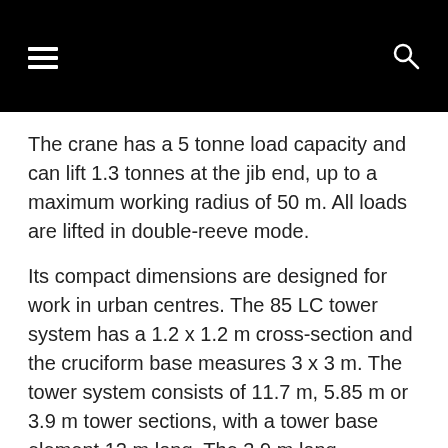[Navigation bar with hamburger menu and search icon]
The crane has a 5 tonne load capacity and can lift 1.3 tonnes at the jib end, up to a maximum working radius of 50 m. All loads are lifted in double-reeve mode.
Its compact dimensions are designed for work in urban centres. The 85 LC tower system has a 1.2 x 1.2 m cross-section and the cruciform base measures 3 x 3 m. The tower system consists of 11.7 m, 5.85 m or 3.9 m tower sections, with a tower base element 12 m long. The 3.9 m long